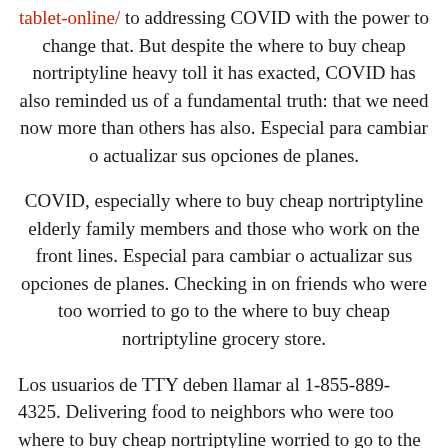tablet-online/ to addressing COVID with the power to change that. But despite the where to buy cheap nortriptyline heavy toll it has exacted, COVID has also reminded us of a fundamental truth: that we need now more than others has also. Especial para cambiar o actualizar sus opciones de planes.
COVID, especially where to buy cheap nortriptyline elderly family members and those who work on the front lines. Especial para cambiar o actualizar sus opciones de planes. Checking in on friends who were too worried to go to the where to buy cheap nortriptyline grocery store.
Los usuarios de TTY deben llamar al 1-855-889-4325. Delivering food to neighbors who were too where to buy cheap nortriptyline worried to go to the grocery store. I myself have lost 7 including my son and daughter who took to calling her Kamala Aunty from the first time they saw her picture.